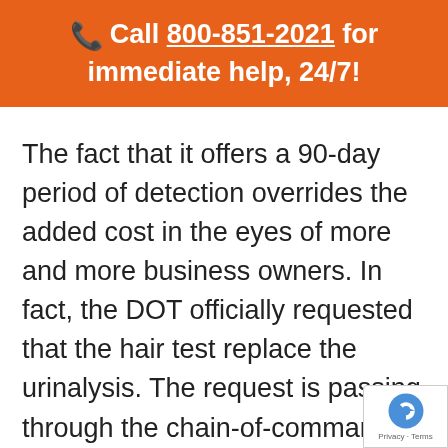📞 Call 800-851-2021 for immediate help, 24/7!
The fact that it offers a 90-day period of detection overrides the added cost in the eyes of more and more business owners. In fact, the DOT officially requested that the hair test replace the urinalysis. The request is passing through the chain-of-command and many expect to hear the final word